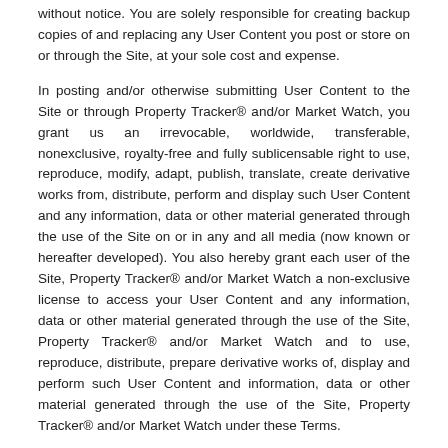without notice. You are solely responsible for creating backup copies of and replacing any User Content you post or store on or through the Site, at your sole cost and expense.
In posting and/or otherwise submitting User Content to the Site or through Property Tracker® and/or Market Watch, you grant us an irrevocable, worldwide, transferable, nonexclusive, royalty-free and fully sublicensable right to use, reproduce, modify, adapt, publish, translate, create derivative works from, distribute, perform and display such User Content and any information, data or other material generated through the use of the Site on or in any and all media (now known or hereafter developed). You also hereby grant each user of the Site, Property Tracker® and/or Market Watch a non-exclusive license to access your User Content and any information, data or other material generated through the use of the Site, Property Tracker® and/or Market Watch and to use, reproduce, distribute, prepare derivative works of, display and perform such User Content and information, data or other material generated through the use of the Site, Property Tracker® and/or Market Watch under these Terms.
Third Party Links
Where the Site contains links to other sites and resources